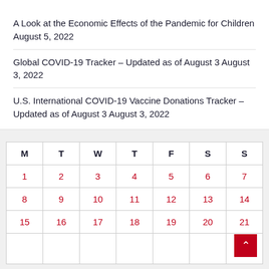A Look at the Economic Effects of the Pandemic for Children August 5, 2022
Global COVID-19 Tracker – Updated as of August 3 August 3, 2022
U.S. International COVID-19 Vaccine Donations Tracker – Updated as of August 3 August 3, 2022
| M | T | W | T | F | S | S |
| --- | --- | --- | --- | --- | --- | --- |
| 1 | 2 | 3 | 4 | 5 | 6 | 7 |
| 8 | 9 | 10 | 11 | 12 | 13 | 14 |
| 15 | 16 | 17 | 18 | 19 | 20 | 21 |